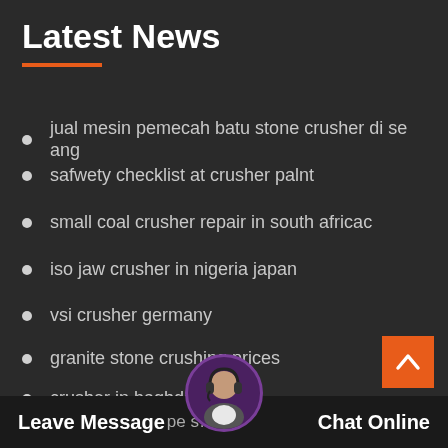Latest News
jual mesin pemecah batu stone crusher di se ang
safwety checklist at crusher palnt
small coal crusher repair in south africac
iso jaw crusher in nigeria japan
vsi crusher germany
granite stone crushing prices
crusher in baghdad sale
stone crusher parts suppliers usa inc
Leave Message pe s...
Leave Message   Chat Online